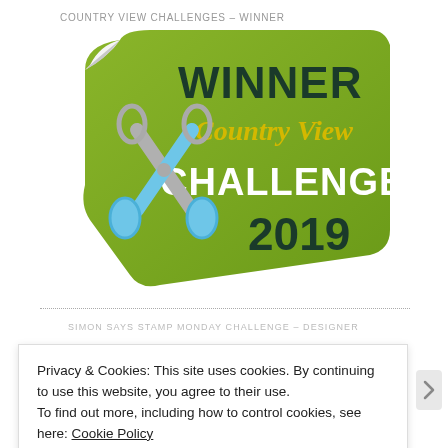COUNTRY VIEW CHALLENGES – WINNER
[Figure (logo): Country View Challenges 2019 Winner badge — green sticker-style shape with curled corner, scissors graphic, bold text reading WINNER, cursive text reading Country View, large bold text CHALLENGES, and dark green text 2019]
SIMON SAYS STAMP MONDAY CHALLENGE – DESIGNER
Privacy & Cookies: This site uses cookies. By continuing to use this website, you agree to their use.
To find out more, including how to control cookies, see here: Cookie Policy
Close and accept